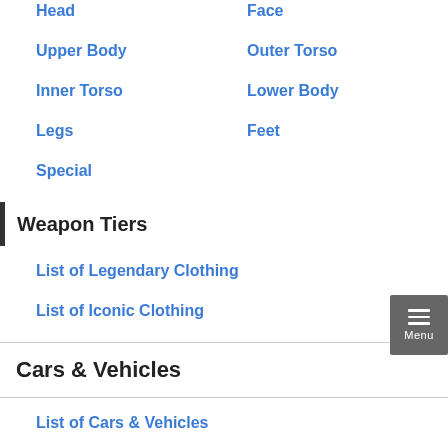Head
Face
Upper Body
Outer Torso
Inner Torso
Lower Body
Legs
Feet
Special
Weapon Tiers
List of Legendary Clothing
List of Iconic Clothing
Cars & Vehicles
List of Cars & Vehicles